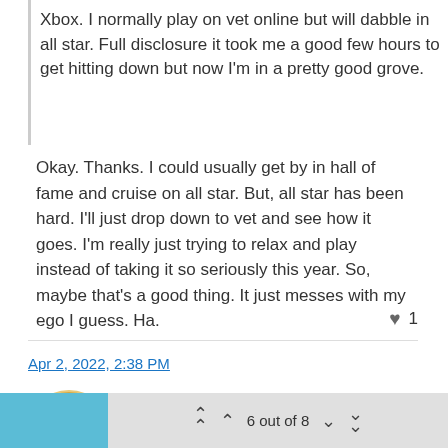Xbox. I normally play on vet online but will dabble in all star. Full disclosure it took me a good few hours to get hitting down but now I'm in a pretty good grove.
Okay. Thanks. I could usually get by in hall of fame and cruise on all star. But, all star has been hard. I'll just drop down to vet and see how it goes. I'm really just trying to relax and play instead of taking it so seriously this year. So, maybe that's a good thing. It just messes with my ego I guess. Ha.
♥ 1
Apr 2, 2022, 2:38 PM
CDNmoneymaker93 TS
6 out of 8